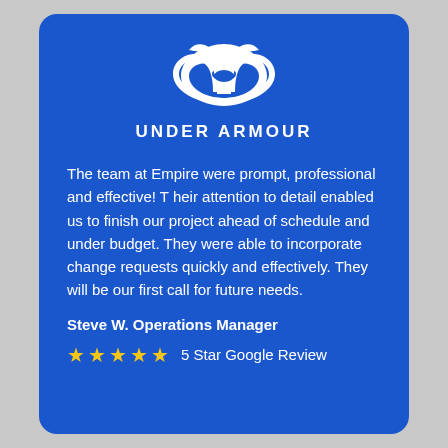[Figure (logo): Under Armour logo — white UA interlocking letters mark on blue background, with UNDER ARMOUR text below]
The team at Empire were prompt, professional and effective! T heir attention to detail enabled us to finish our project ahead of schedule and under budget. They were able to incorporate change requests quickly and effectively. They will be our first call for future needs.
Steve W. Operations Manager
★★★★★  5 Star Google Review